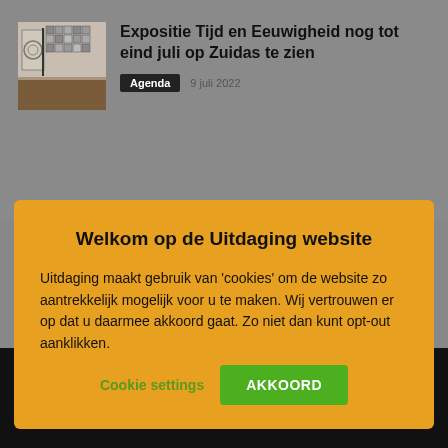[Figure (photo): Museum or gallery interior with artworks on walls, wooden floor visible]
Expositie Tijd en Eeuwigheid nog tot eind juli op Zuidas te zien
Agenda  9 juli 2022
Welkom op de Uitdaging website
Uitdaging maakt gebruik van 'cookies' om de website zo aantrekkelijk mogelijk voor u te maken. Wij vertrouwen er op dat u daarmee akkoord gaat. Zo niet dan kunt opt-out aanklikken.
Cookie settings
AKKOORD